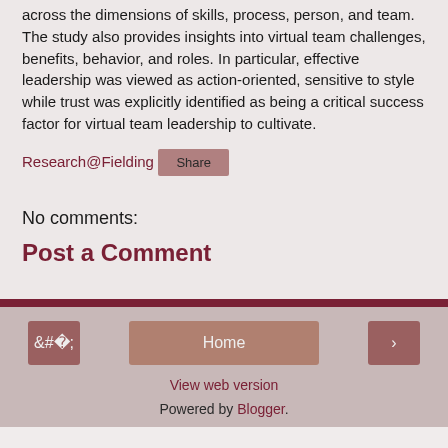across the dimensions of skills, process, person, and team. The study also provides insights into virtual team challenges, benefits, behavior, and roles. In particular, effective leadership was viewed as action-oriented, sensitive to style while trust was explicitly identified as being a critical success factor for virtual team leadership to cultivate.
Research@Fielding
Share
No comments:
Post a Comment
Home | View web version | Powered by Blogger.